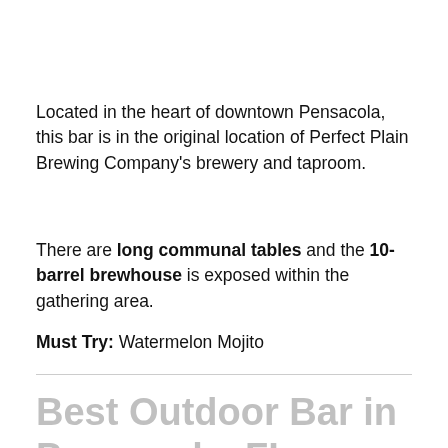Located in the heart of downtown Pensacola, this bar is in the original location of Perfect Plain Brewing Company's brewery and taproom.
There are long communal tables and the 10-barrel brewhouse is exposed within the gathering area.
Must Try: Watermelon Mojito
Best Outdoor Bar in Pensacola, FL — Garden…